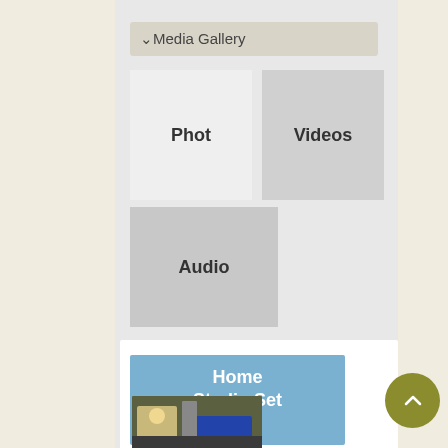↓Media Gallery
[Figure (screenshot): Photos category tile - light grey square]
[Figure (screenshot): Videos category tile - medium grey square]
[Figure (screenshot): Audio category tile - dark grey square]
[Figure (screenshot): Home Studio Set Up blue label card with thumbnail photo of home studio below it]
[Figure (screenshot): Olive green circular scroll-to-top button with up chevron]